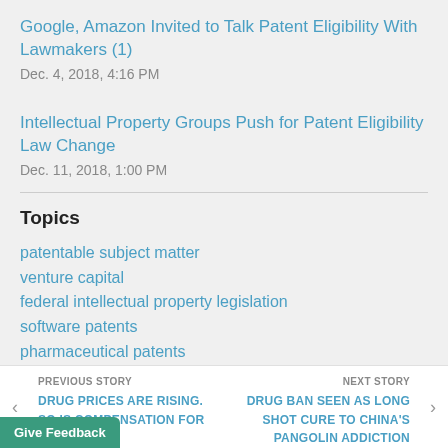Google, Amazon Invited to Talk Patent Eligibility With Lawmakers (1)
Dec. 4, 2018, 4:16 PM
Intellectual Property Groups Push for Patent Eligibility Law Change
Dec. 11, 2018, 1:00 PM
Topics
patentable subject matter
venture capital
federal intellectual property legislation
software patents
pharmaceutical patents
PREVIOUS STORY
DRUG PRICES ARE RISING. SO IS COMPENSATION FOR [CEOs] (1)

NEXT STORY
DRUG BAN SEEN AS LONG SHOT CURE TO CHINA'S PANGOLIN ADDICTION